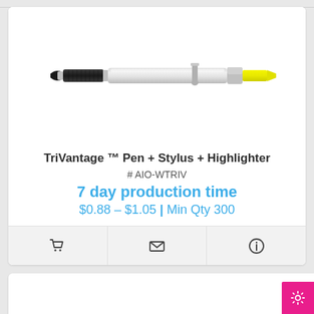[Figure (photo): A silver multi-function pen with black grip, stylus tip, and yellow highlighter tip]
TriVantage ™ Pen + Stylus + Highlighter
# AIO-WTRIV
7 day production time
$0.88 – $1.05 | Min Qty 300